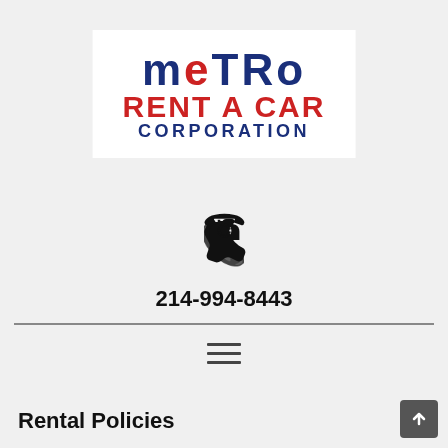[Figure (logo): Metro Rent A Car Corporation logo with METRO in dark blue, RENT A CAR in red, and CORPORATION in dark blue, all caps bold text]
214-994-8443
[Figure (other): Hamburger menu icon (three horizontal lines)]
Rental Policies